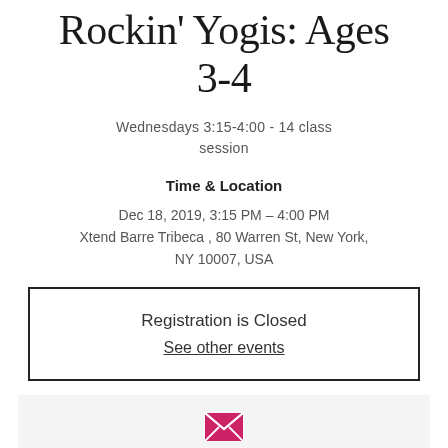Rockin' Yogis: Ages 3-4
Wednesdays 3:15-4:00 - 14 class session
Time & Location
Dec 18, 2019, 3:15 PM – 4:00 PM
Xtend Barre Tribeca , 80 Warren St, New York, NY 10007, USA
Registration is Closed
See other events
[Figure (other): Bottom card section with envelope/email icon on light gray background]